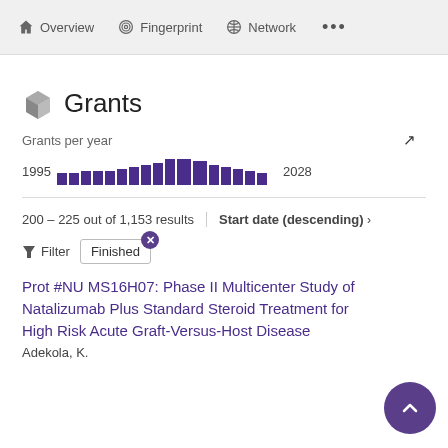Overview   Fingerprint   Network   ...
Grants
Grants per year
[Figure (bar-chart): Grants per year]
200 – 225 out of 1,153 results
Start date (descending) ›
Filter   Finished
Prot #NU MS16H07: Phase II Multicenter Study of Natalizumab Plus Standard Steroid Treatment for High Risk Acute Graft-Versus-Host Disease
Adekola, K.